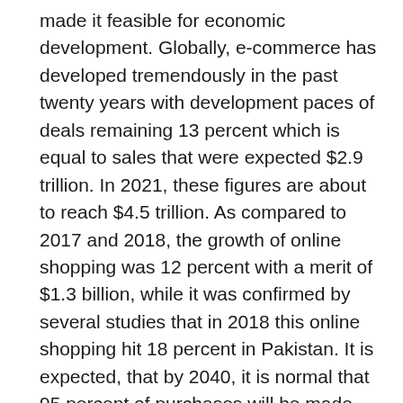made it feasible for economic development. Globally, e-commerce has developed tremendously in the past twenty years with development paces of deals remaining 13 percent which is equal to sales that were expected $2.9 trillion. In 2021, these figures are about to reach $4.5 trillion. As compared to 2017 and 2018, the growth of online shopping was 12 percent with a merit of $1.3 billion, while it was confirmed by several studies that in 2018 this online shopping hit 18 percent in Pakistan. It is expected, that by 2040, it is normal that 95 percent of purchases will be made and encouraged online. With a population of 208 million and several financial inclusion solutions, Pakistan is one of the largest unrealized markets of e-commerce in the world.